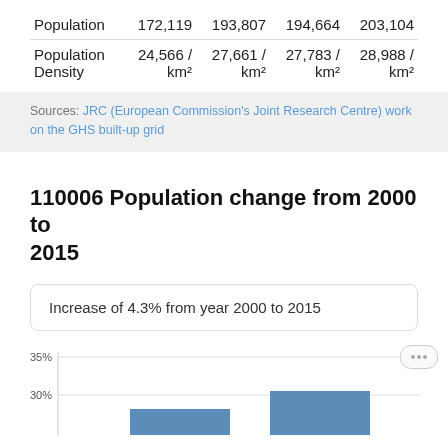|  | col1 | col2 | col3 | col4 |
| --- | --- | --- | --- | --- |
| Population | 172,119 | 193,807 | 194,664 | 203,104 |
| Population Density | 24,566 / km² | 27,661 / km² | 27,783 / km² | 28,988 / km² |
Sources: JRC (European Commission's Joint Research Centre) work on the GHS built-up grid
110006 Population change from 2000 to 2015
Increase of 4.3% from year 2000 to 2015
[Figure (bar-chart): Population change chart]